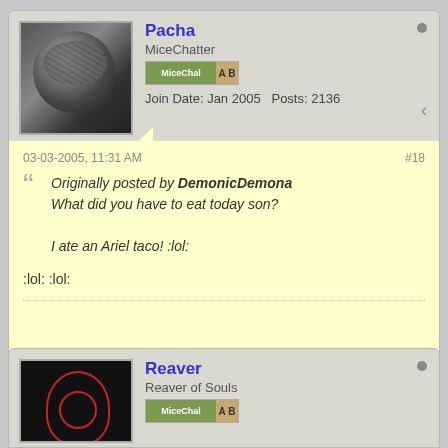Pacha
MiceChatter
Join Date: Jan 2005   Posts: 2136
03-03-2005, 11:31 AM
#18
Originally posted by DemonicDemona
What did you have to eat today son?

I ate an Ariel taco! :lol:
:lol: :lol:
Reaver
Reaver of Souls